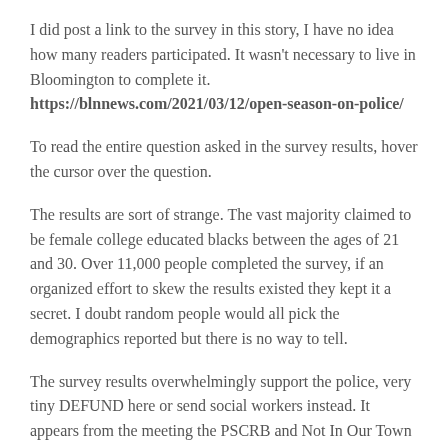I did post a link to the survey in this story, I have no idea how many readers participated. It wasn't necessary to live in Bloomington to complete it.
https://blnnews.com/2021/03/12/open-season-on-police/
To read the entire question asked in the survey results, hover the cursor over the question.
The results are sort of strange. The vast majority claimed to be female college educated blacks between the ages of 21 and 30. Over 11,000 people completed the survey, if an organized effort to skew the results existed they kept it a secret. I doubt random people would all pick the demographics reported but there is no way to tell.
The survey results overwhelmingly support the police, very tiny DEFUND here or send social workers instead. It appears from the meeting the PSCRB and Not In Our Town intend to ignore the